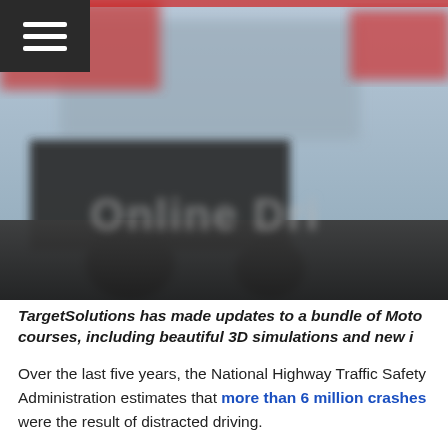[Figure (photo): Blurred outdoor scene showing a large truck or vehicle with signage partially visible, dark road surface, overcast sky, overlaid with semi-transparent text reading 'Online Dri...' — a screenshot from a driving simulation or course landing page.]
TargetSolutions has made updates to a bundle of Moto courses, including beautiful 3D simulations and new i
Over the last five years, the National Highway Traffic Safety Administration estimates that more than 6 million crashes were the result of distracted driving.
That number translates to an annual price tag of